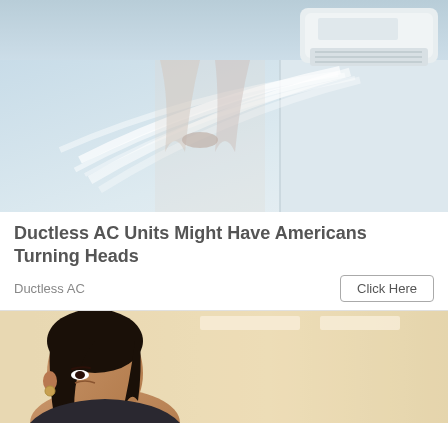[Figure (photo): A ductless mini-split AC unit mounted high on a white wall, blowing air downward with motion blur effects, light curtains visible near a window in the background. Light blue/white cool tones.]
Ductless AC Units Might Have Americans Turning Heads
Ductless AC
[Figure (photo): A woman with dark hair in professional attire looking slightly downward, in a warmly lit office environment with ceiling lights in the background.]